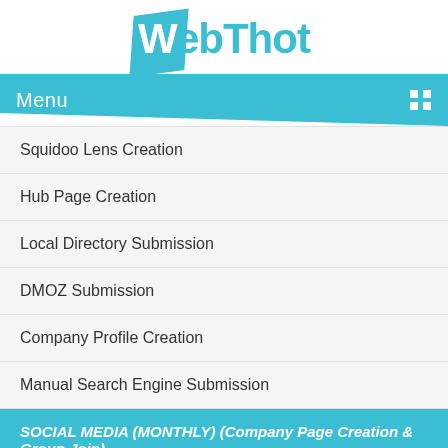[Figure (logo): WebThot logo with blue parallelogram behind the W, teal colored text]
Menu
Squidoo Lens Creation
Hub Page Creation
Local Directory Submission
DMOZ Submission
Company Profile Creation
Manual Search Engine Submission
SOCIAL MEDIA (MONTHLY) (Company Page Creation & Group Join)
Social Bookmarking